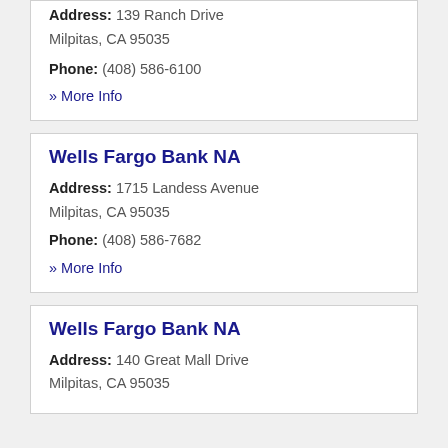Address: 139 Ranch Drive Milpitas, CA 95035
Phone: (408) 586-6100
» More Info
Wells Fargo Bank NA
Address: 1715 Landess Avenue Milpitas, CA 95035
Phone: (408) 586-7682
» More Info
Wells Fargo Bank NA
Address: 140 Great Mall Drive Milpitas, CA 95035